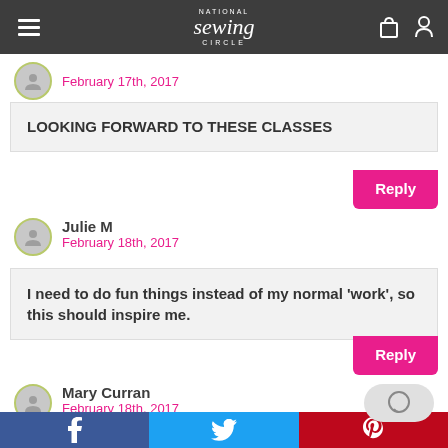National Sewing Circle
February 17th, 2017
LOOKING FORWARD TO THESE CLASSES
Reply
Julie M
February 18th, 2017
I need to do fun things instead of my normal ‘work’, so this should inspire me.
Reply
Mary Curran
February 18th, 2017
f  Twitter  p